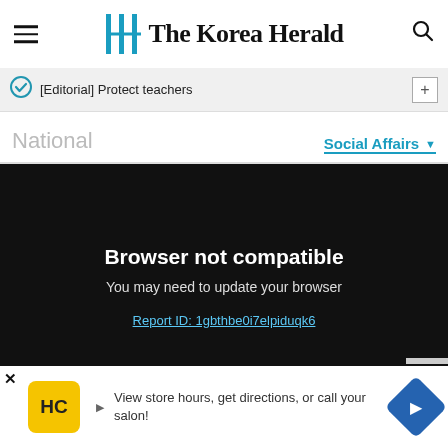The Korea Herald
[Editorial] Protect teachers
National
Social Affairs
Browser not compatible
You may need to update your browser
Report ID: 1gbthbe0i7elpiduqk6
View store hours, get directions, or call your salon!